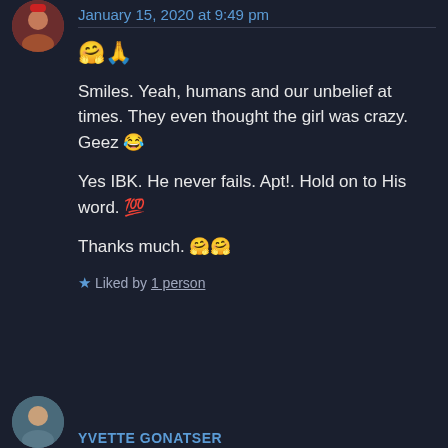[Figure (photo): Circular avatar photo of a person with red hair accessory, top left]
January 15, 2020 at 9:49 pm
🤗🙏
Smiles. Yeah, humans and our unbelief at times. They even thought the girl was crazy. Geez 😂
Yes IBK. He never fails. Apt!. Hold on to His word. 💯
Thanks much. 🤗🤗
★ Liked by 1 person
[Figure (photo): Circular avatar photo at the bottom left, partially visible]
YVETTE GONATSER